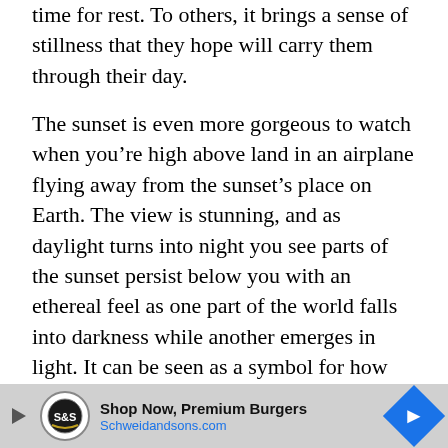time for rest. To others, it brings a sense of stillness that they hope will carry them through their day.
The sunset is even more gorgeous to watch when you're high above land in an airplane flying away from the sunset's place on Earth. The view is stunning, and as daylight turns into night you see parts of the sunset persist below you with an ethereal feel as one part of the world falls into darkness while another emerges in light. It can be seen as a symbol for how we are all connected by being on this planet together at this moment in history–something big will happen tomorrow, something small will happen today; nothing lasts forever and everything changes.
[Figure (other): Advertisement banner for Schweidandsons.com featuring 'Shop Now, Premium Burgers' text with logo and blue navigation arrow]